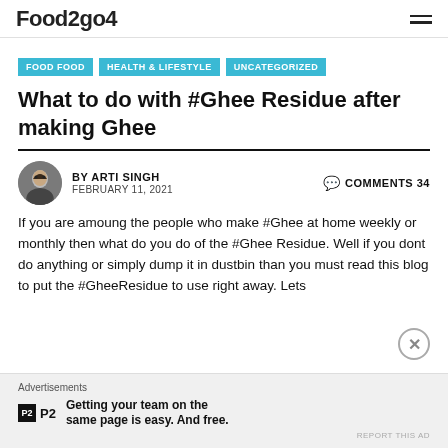Food2go4
FOOD FOOD
HEALTH & LIFESTYLE
UNCATEGORIZED
What to do with #Ghee Residue after making Ghee
BY ARTI SINGH   COMMENTS 34
FEBRUARY 11, 2021
If you are amoung the people who make #Ghee at home weekly or monthly then what do you do of the #Ghee Residue. Well if you dont do anything or simply dump it in dustbin than you must read this blog to put the #GheeResidue to use right away. Lets